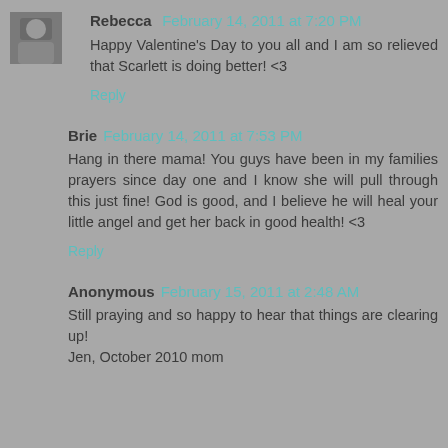Rebecca  February 14, 2011 at 7:20 PM
Happy Valentine's Day to you all and I am so relieved that Scarlett is doing better! <3
Reply
Brie  February 14, 2011 at 7:53 PM
Hang in there mama! You guys have been in my families prayers since day one and I know she will pull through this just fine! God is good, and I believe he will heal your little angel and get her back in good health! <3
Reply
Anonymous  February 15, 2011 at 2:48 AM
Still praying and so happy to hear that things are clearing up!
Jen, October 2010 mom